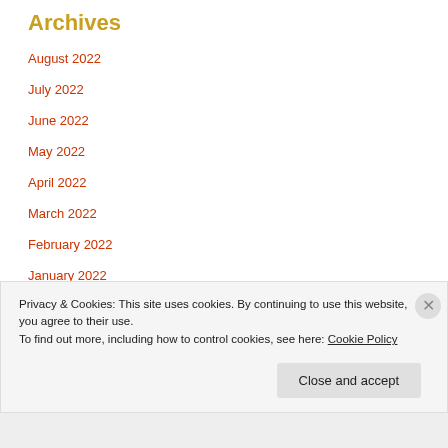Archives
August 2022
July 2022
June 2022
May 2022
April 2022
March 2022
February 2022
January 2022
December 2021
November 2021
Privacy & Cookies: This site uses cookies. By continuing to use this website, you agree to their use.
To find out more, including how to control cookies, see here: Cookie Policy
Close and accept